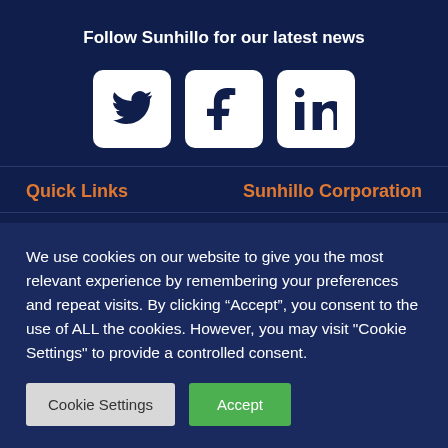Follow Sunhillo for our latest news
[Figure (other): Three social media icon buttons: Twitter bird icon, Facebook f icon, and LinkedIn in icon, each on a white rounded square background]
Quick Links
Sunhillo Corporation
We use cookies on our website to give you the most relevant experience by remembering your preferences and repeat visits. By clicking “Accept”, you consent to the use of ALL the cookies. However, you may visit "Cookie Settings" to provide a controlled consent.
Cookie Settings | Accept